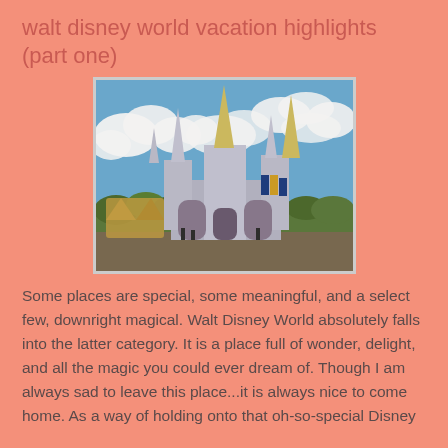walt disney world vacation highlights (part one)
[Figure (photo): Photo of Cinderella Castle at Walt Disney World Magic Kingdom, with blue sky and white clouds in the background, trees and colorful banners visible at the base.]
Some places are special, some meaningful, and a select few, downright magical. Walt Disney World absolutely falls into the latter category. It is a place full of wonder, delight, and all the magic you could ever dream of. Though I am always sad to leave this place...it is always nice to come home. As a way of holding onto that oh-so-special Disney